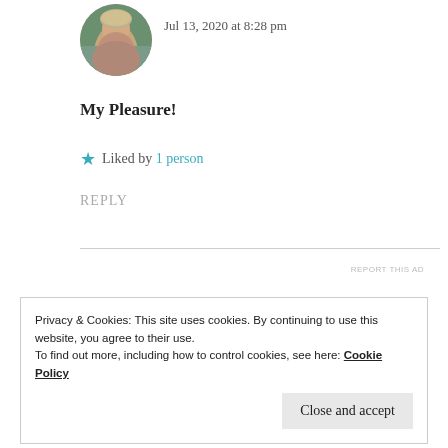[Figure (photo): Circular avatar photo of a woman with blonde/grey hair, outdoors background]
Jul 13, 2020 at 8:28 pm
My Pleasure!
★ Liked by 1 person
REPLY
REPORT THIS AD
Privacy & Cookies: This site uses cookies. By continuing to use this website, you agree to their use.
To find out more, including how to control cookies, see here: Cookie Policy
Close and accept